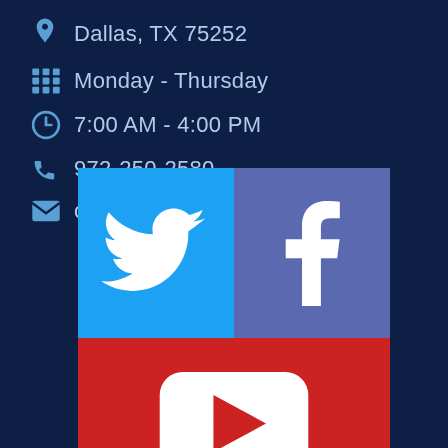Dallas, TX 75252
Monday - Thursday
7:00 AM - 4:00 PM
972-250-2580
office@venincasa.com
[Figure (infographic): Social media icons grid: Twitter (blue), Facebook (purple-blue), YouTube (red), Pinterest (red) logos on colored tile backgrounds]